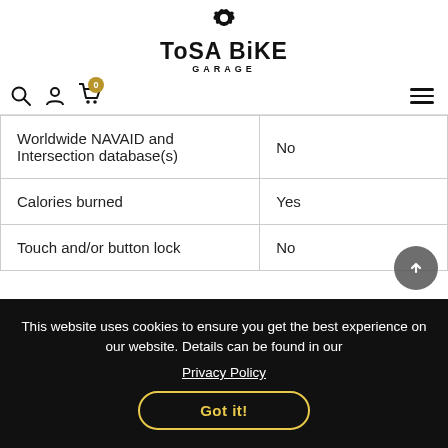[Figure (logo): ToSA Bike Garage logo with gear icon above stylized text]
[Figure (screenshot): Navigation bar with search icon, user icon, cart icon with badge 0, and hamburger menu]
| Worldwide NAVAID and Intersection database(s) | No |
| Calories burned | Yes |
| Touch and/or button lock | No |
This website uses cookies to ensure you get the best experience on our website. Details can be found in our Privacy Policy
Got it!